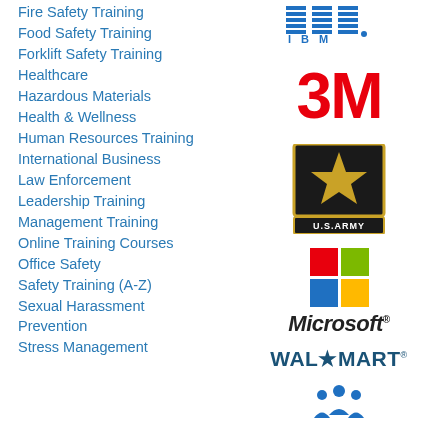Fire Safety Training
Food Safety Training
Forklift Safety Training
Healthcare
Hazardous Materials
Health & Wellness
Human Resources Training
International Business
Law Enforcement
Leadership Training
Management Training
Online Training Courses
Office Safety
Safety Training (A-Z)
Sexual Harassment Prevention
Stress Management
[Figure (logo): IBM logo in blue stripes]
[Figure (logo): 3M logo in red bold text]
[Figure (logo): U.S. Army logo with black background and gold star]
[Figure (logo): Microsoft logo with four-color Windows flag and italic Microsoft text]
[Figure (logo): WAL*MART logo in dark blue bold text]
[Figure (logo): Prudential or similar insurance/financial company logo with people icon]